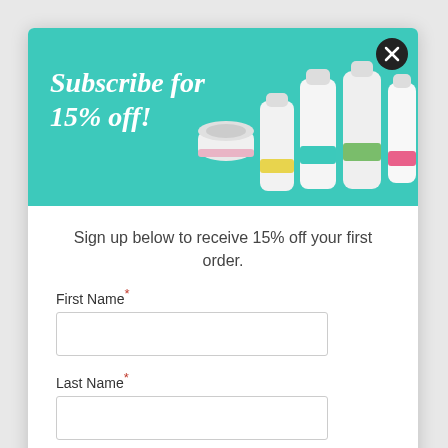[Figure (illustration): Teal/turquoise promotional banner with italic bold white text 'Subscribe for 15% off!' on the left, and product bottles/jars on the right, plus a black circular close button (X) in the top-right corner.]
Sign up below to receive 15% off your first order.
First Name*
Last Name*
ACCEPT & CONTINUE